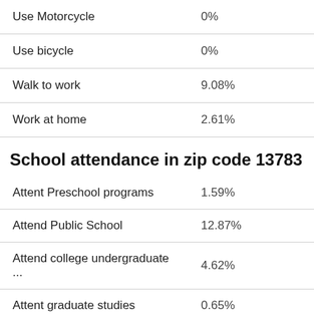|  |  |
| --- | --- |
| Use Motorcycle | 0% |
| Use bicycle | 0% |
| Walk to work | 9.08% |
| Work at home | 2.61% |
School attendance in zip code 13783
|  |  |
| --- | --- |
| Attent Preschool programs | 1.59% |
| Attend Public School | 12.87% |
| Attend college undergraduate ... | 4.62% |
| Attent graduate studies | 0.65% |
| ... | ... |